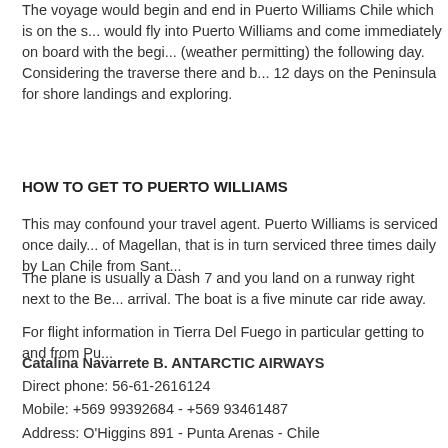The voyage would begin and end in Puerto Williams Chile which is on the s... would fly into Puerto Williams and come immediately on board with the begi... (weather permitting) the following day. Considering the traverse there and b... 12 days on the Peninsula for shore landings and exploring.
HOW TO GET TO PUERTO WILLIAMS
This may confound your travel agent. Puerto Williams is serviced once daily... of Magellan, that is in turn serviced three times daily by Lan Chile from Sant...
The plane is usually a Dash 7 and you land on a runway right next to the Be... arrival. The boat is a five minute car ride away.
For flight information in Tierra Del Fuego in particular getting to and from Pu...
Catalina Navarrete B. ANTARCTIC AIRWAYS
Direct phone: 56-61-2616124
Mobile: +569 99392684 - +569 93461487
Address: O'Higgins 891 - Punta Arenas - Chile
E-mail: catalina@dap.cl - agencia@dap.cl
Website: www.dap.cl
ACCOMMODATION PUERTO WILLIAMS
For clients spending a night in Puerto Williams either before or after the crui...